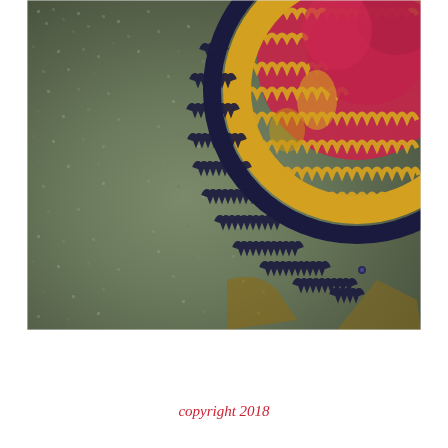[Figure (photo): Close-up photograph of a hooked rug or textile with a dark olive/green textured background and a circular decorative element featuring navy blue border, golden yellow fringe/loops, and crimson/red floral or petal design in the upper right.]
copyright 2018